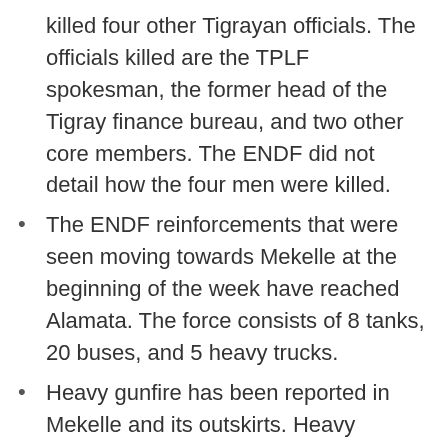killed four other Tigrayan officials. The officials killed are the TPLF spokesman, the former head of the Tigray finance bureau, and two other core members. The ENDF did not detail how the four men were killed.
The ENDF reinforcements that were seen moving towards Mekelle at the beginning of the week have reached Alamata. The force consists of 8 tanks, 20 buses, and 5 heavy trucks.
Heavy gunfire has been reported in Mekelle and its outskirts. Heavy artillery bombing was reported in Wukro, North of Mekelle.
Report that Maryam Tsiyon Church has been attacked/bombed, including with the